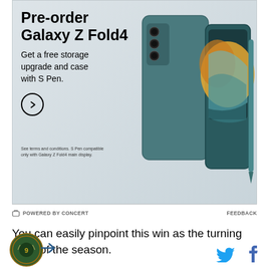[Figure (photo): Samsung Galaxy Z Fold4 advertisement. Shows the phone with teal/slate blue case and S Pen. Text reads: Pre-order Galaxy Z Fold4. Get a free storage upgrade and case with S Pen.]
POWERED BY CONCERT   FEEDBACK
You can easily pinpoint this win as the turning point of the season.
Partially visible headline below